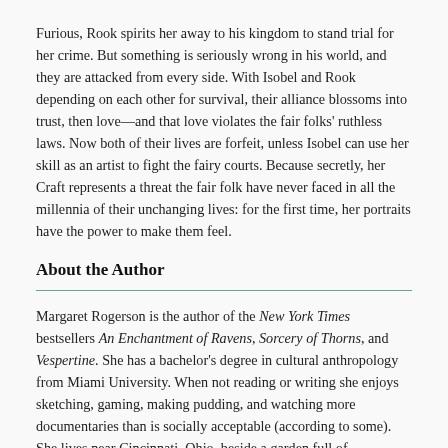Furious, Rook spirits her away to his kingdom to stand trial for her crime. But something is seriously wrong in his world, and they are attacked from every side. With Isobel and Rook depending on each other for survival, their alliance blossoms into trust, then love—and that love violates the fair folks' ruthless laws. Now both of their lives are forfeit, unless Isobel can use her skill as an artist to fight the fairy courts. Because secretly, her Craft represents a threat the fair folk have never faced in all the millennia of their unchanging lives: for the first time, her portraits have the power to make them feel.
About the Author
Margaret Rogerson is the author of the New York Times bestsellers An Enchantment of Ravens, Sorcery of Thorns, and Vespertine. She has a bachelor's degree in cultural anthropology from Miami University. When not reading or writing she enjoys sketching, gaming, making pudding, and watching more documentaries than is socially acceptable (according to some). She lives near Cincinnati, Ohio, beside a garden full of hummingbirds